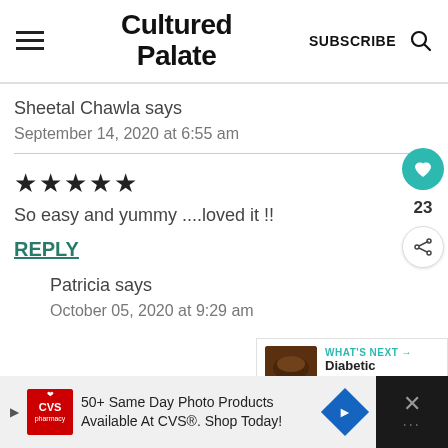Cultured Palate
Sheetal Chawla says
September 14, 2020 at 6:55 am
[Figure (other): Five black star rating]
So easy and yummy ....loved it !!
REPLY
Patricia says
October 05, 2020 at 9:29 am
[Figure (other): What's Next widget showing Diabetic Brownies with thumbnail image]
[Figure (other): CVS Pharmacy advertisement banner: 50+ Same Day Photo Products Available At CVS®. Shop Today!]